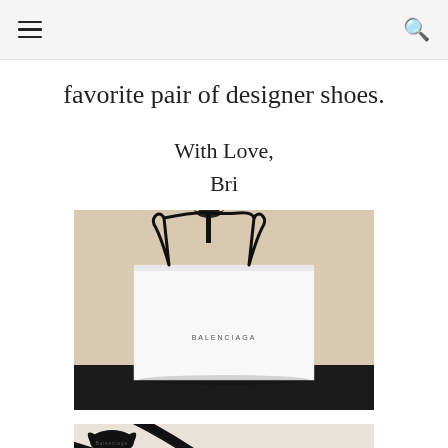[hamburger menu icon] [search icon]
favorite pair of designer shoes.
With Love,
Bri
[Figure (photo): A white Balenciaga shopping bag with black rope handles tied in a bow, sitting on a dark surface against a beige/cream background. The word BALENCIAGA is printed in small letters on the front of the bag.]
[Figure (photo): Close-up of a black Balenciaga rope handle with a bow, against a white/cream background. The word Balenciaga is visible on the ribbon.]